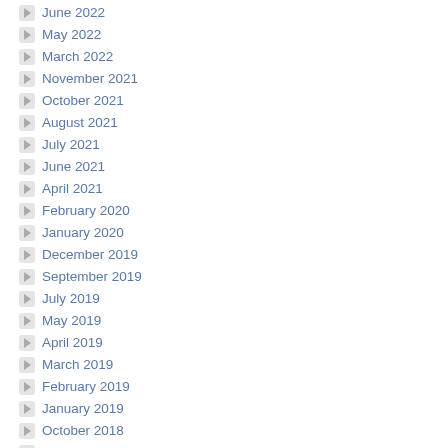June 2022
May 2022
March 2022
November 2021
October 2021
August 2021
July 2021
June 2021
April 2021
February 2020
January 2020
December 2019
September 2019
July 2019
May 2019
April 2019
March 2019
February 2019
January 2019
October 2018
July 2018
June 2018
May 2018
April 2018